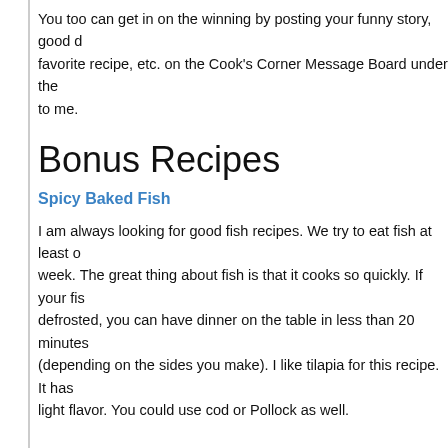You too can get in on the winning by posting your funny story, good d favorite recipe, etc. on the Cook's Corner Message Board under the to me.
Bonus Recipes
Spicy Baked Fish
I am always looking for good fish recipes. We try to eat fish at least o week. The great thing about fish is that it cooks so quickly. If your fis defrosted, you can have dinner on the table in less than 20 minutes (depending on the sides you make). I like tilapia for this recipe. It has light flavor. You could use cod or Pollock as well.
Yellow Rice
Rice is one of our favorite side dishes. There are so many things tha can do to it! We have been trying different flavored rice at our house.